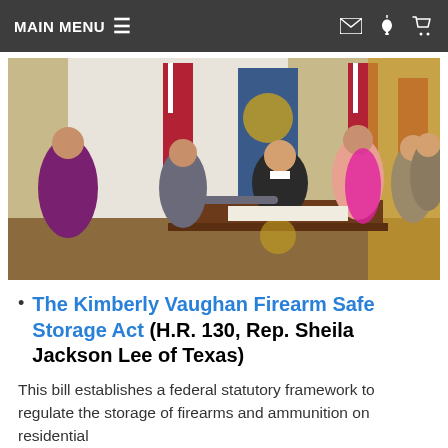MAIN MENU ≡
[Figure (photo): Photo of a bill signing ceremony at the White House East Room. A person seated at a desk signing documents, surrounded by several officials and guests. American flags and a presidential seal flag visible in the background.]
The Kimberly Vaughan Firearm Safe Storage Act (H.R. 130, Rep. Sheila Jackson Lee of Texas)
This bill establishes a federal statutory framework to regulate the storage of firearms and ammunition on residential